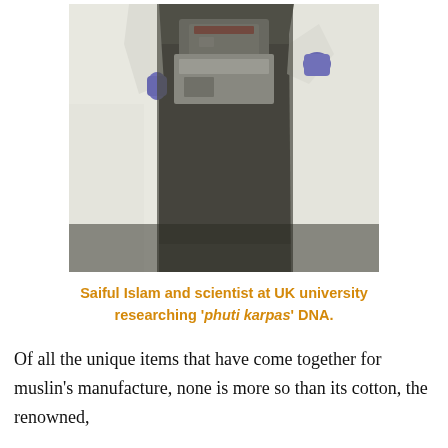[Figure (photo): Two people in white lab coats and purple gloves working in a laboratory, facing a piece of equipment on a bench.]
Saiful Islam and scientist at UK university researching 'phuti karpas' DNA.
Of all the unique items that have come together for muslin's manufacture, none is more so than its cotton, the renowned,